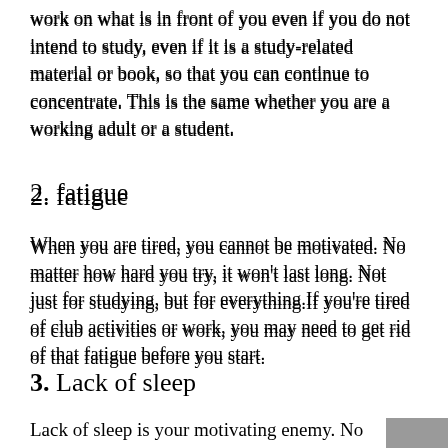work on what is in front of you even if you do not intend to study, even if it is a study-related material or book, so that you can continue to concentrate. This is the same whether you are a working adult or a student.
2. fatigue
When you are tired, you cannot be motivated. No matter how hard you try, it won't last long. Not just for studying, but for everything.If you're tired of club activities or work, you may need to get rid of that fatigue before you start.
3. Lack of sleep
Lack of sleep is your motivating enemy. No matter how
[Figure (other): Advertisement banner for Wegmans Easy Back to School Snacking]